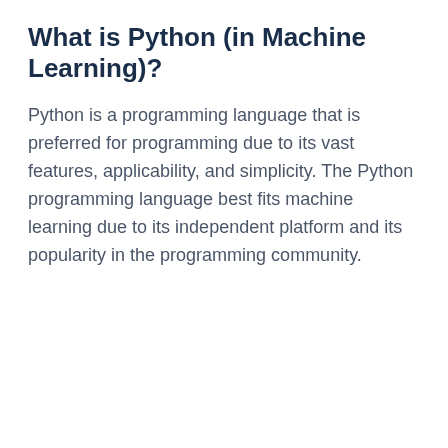What is Python (in Machine Learning)?
Python is a programming language that is preferred for programming due to its vast features, applicability, and simplicity. The Python programming language best fits machine learning due to its independent platform and its popularity in the programming community.